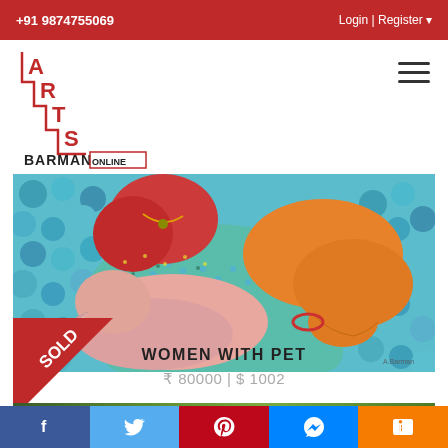+91 9874755069   Login | Register
[Figure (logo): Arts Barman Online logo with staircase letter design in red and black]
[Figure (photo): Painting of women with pet animal - colorful folk art style showing women in traditional attire with a large animal, teal/green fabric, orange tones, blue mosaic background]
[Figure (infographic): Red diagonal SOLD badge/ribbon on bottom left corner of painting]
WOMEN WITH PET
₹ 80000 | $ 1002
[Figure (photo): Partial bottom strip of another artwork - green tones visible]
Social share buttons: Facebook, Twitter, Pinterest, Messenger, Blogger